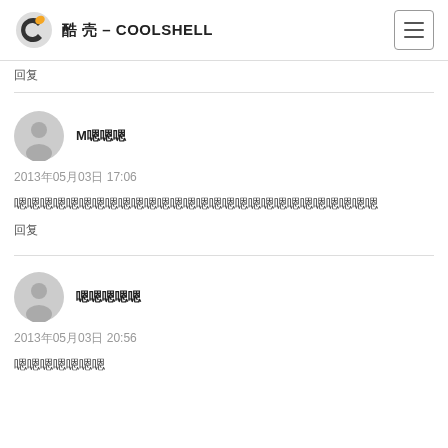酷 壳 – COOLSHELL
回复
M嗯嗯嗯
2013年05月03日 17:06
嗯嗯嗯嗯嗯嗯嗯嗯嗯嗯嗯嗯嗯嗯嗯嗯嗯嗯嗯嗯嗯嗯嗯嗯嗯嗯嗯嗯
回复
嗯嗯嗯嗯嗯
2013年05月03日 20:56
嗯嗯嗯嗯嗯嗯嗯